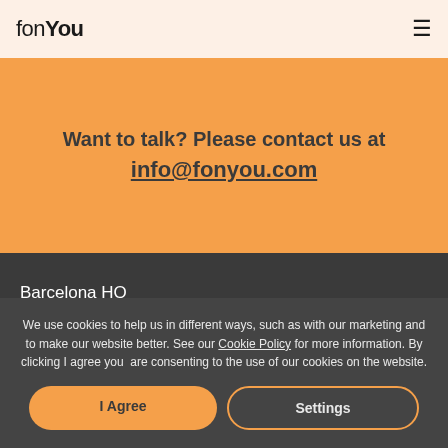fonYou
Want to talk? Please contact us at info@fonyou.com
Barcelona HQ
We use cookies to help us in different ways, such as with our marketing and to make our website better. See our Cookie Policy for more information. By clicking I agree you are consenting to the use of our cookies on the website.
I Agree
Settings